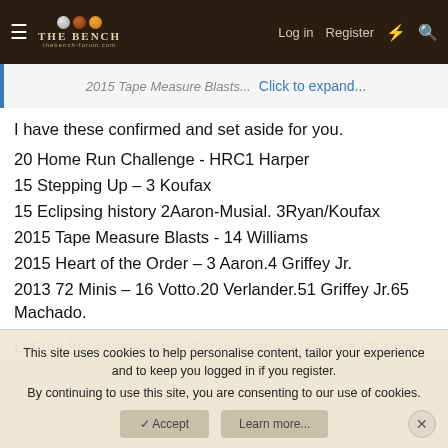THE BENCH — navigation bar with Log in, Register links
2015 Tape Measure Blasts... Click to expand...
I have these confirmed and set aside for you.
20 Home Run Challenge - HRC1 Harper
15 Stepping Up – 3 Koufax
15 Eclipsing history 2Aaron-Musial. 3Ryan/Koufax
2015 Tape Measure Blasts - 14 Williams
2015 Heart of the Order – 3 Aaron.4 Griffey Jr.
2013 72 Minis – 16 Votto.20 Verlander.51 Griffey Jr.65 Machado.

Let me know where we stand when you have a chance. joe
This site uses cookies to help personalise content, tailor your experience and to keep you logged in if you register.
By continuing to use this site, you are consenting to our use of cookies.